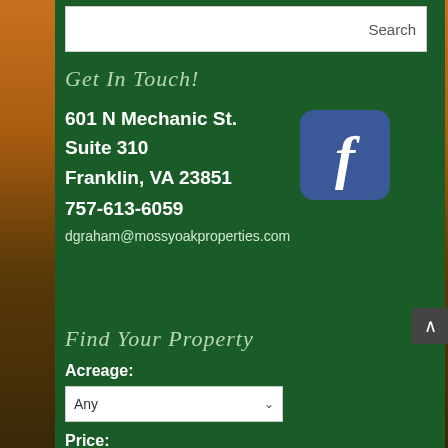Search
Get In Touch!
601 N Mechanic St.
Suite 310
Franklin, VA 23851
757-613-6059
dgraham@mossyoakproperties.com
[Figure (logo): Facebook logo icon — blue rounded square with white italic f letter]
Find Your Property
Acreage:
Any
Price: